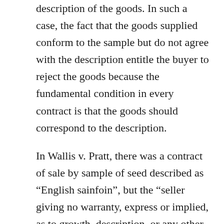description of the goods. In such a case, the fact that the goods supplied conform to the sample but do not agree with the description entitle the buyer to reject the goods because the fundamental condition in every contract is that the goods should correspond to the description.
In Wallis v. Pratt, there was a contract of sale by sample of seed described as “English sainfoin”, but the “seller giving no warranty, express or implied, as to growth, description, or any other matters”